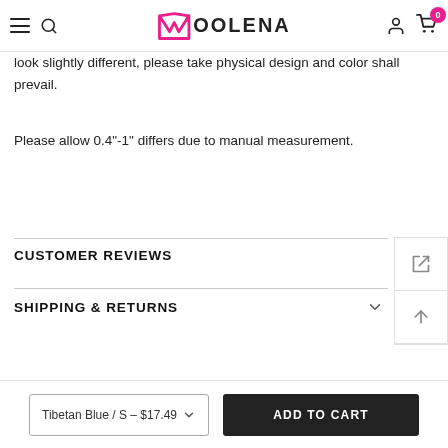Moolena - navigation header with hamburger, search, logo, account, and cart icons
look slightly different, please take physical design and color shall prevail.
Please allow 0.4"-1" differs due to manual measurement.
CUSTOMER REVIEWS
SHIPPING & RETURNS
Tibetan Blue / S – $17.49
ADD TO CART